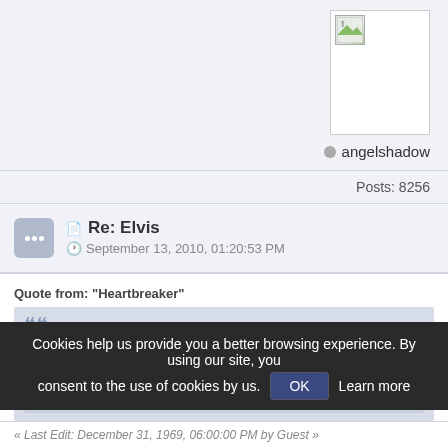[Figure (other): Broken image thumbnail for user avatar]
angelshadow
Posts: 8256
Re: Elvis
September 13, 2010, 01:20:53 PM
Quote from: "Heartbreaker"
«
Quote from: "angelshadow"
«
Danke,hatte den selben Gedanken 😉 lol danke es zu posten!!!!
Sorry Süsse das ich schon wieder schneller war…… dachte ich mache das mal bevor es
Cookies help us provide you a better browsing experience. By using our site, you consent to the use of cookies by us. OK Learn more
« Last Edit: December 31, 1969, 06:00:00 PM by Guest »